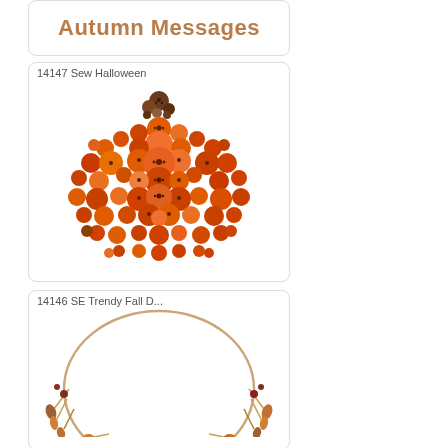[Figure (illustration): Card showing 'Autumn Messages' text in brown/tan bold font on white background with rounded border]
[Figure (illustration): Card labeled '14147 Sew Halloween' showing a pumpkin shape made of colorful orange, red, and brown buttons arranged in a pumpkin silhouette with a brown stem on white background]
[Figure (illustration): Card labeled '14146 SE Trendy Fall D...' showing a partial wreath made of golden and brown autumn botanical branches on white background]